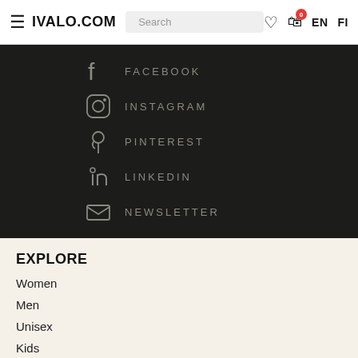≡ IVALO.COM  Search  ♥  🛒0  EN  FI
[Figure (screenshot): Dark section with social media links: FACEBOOK (partial), INSTAGRAM, PINTEREST, LINKEDIN, NEWSLETTER with corresponding icons on dark background]
EXPLORE
Women
Men
Unisex
Kids
Brands